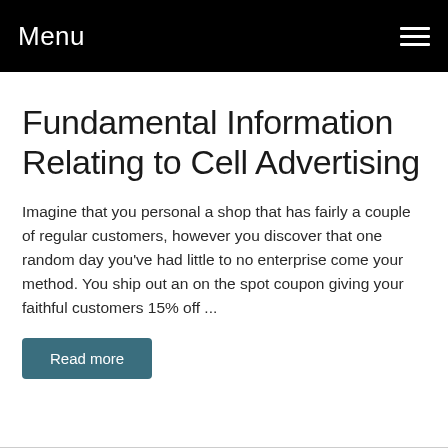Menu
Fundamental Information Relating to Cell Advertising
Imagine that you personal a shop that has fairly a couple of regular customers, however you discover that one random day you've had little to no enterprise come your method. You ship out an on the spot coupon giving your faithful customers 15% off ...
Read more